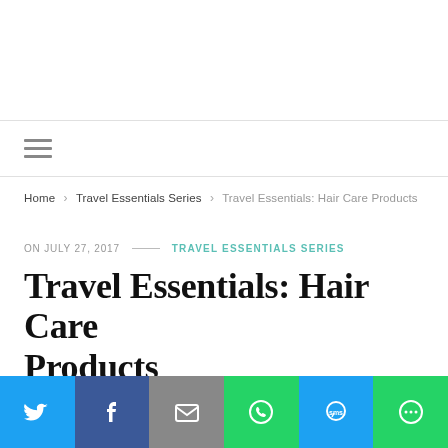Home › Travel Essentials Series › Travel Essentials: Hair Care Products
ON JULY 27, 2017 — TRAVEL ESSENTIALS SERIES
Travel Essentials: Hair Care Products
[Figure (photo): Forest/woodland scene with trees, dark reddish tones]
Social share bar: Twitter, Facebook, Email, WhatsApp, SMS, More